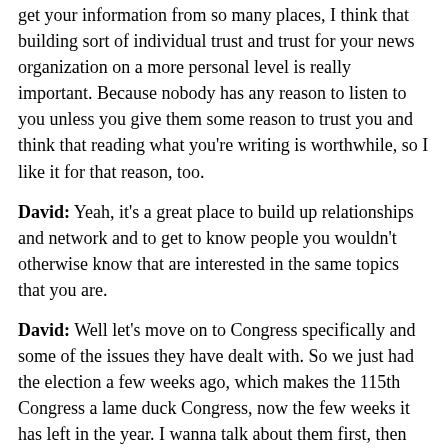get your information from so many places, I think that building sort of individual trust and trust for your news organization on a more personal level is really important. Because nobody has any reason to listen to you unless you give them some reason to trust you and think that reading what you're writing is worthwhile, so I like it for that reason, too.
David: Yeah, it's a great place to build up relationships and network and to get to know people you wouldn't otherwise know that are interested in the same topics that you are.
David: Well let's move on to Congress specifically and some of the issues they have dealt with. So we just had the election a few weeks ago, which makes the 115th Congress a lame duck Congress, now the few weeks it has left in the year. I wanna talk about them first, then we'll talk about the new Congress coming in in January. But let's talk about the accomplishments or maybe the failures of the congress that was led by Republican...